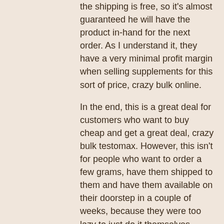the shipping is free, so it's almost guaranteed he will have the product in-hand for the next order. As I understand it, they have a very minimal profit margin when selling supplements for this sort of price, crazy bulk online.
In the end, this is a great deal for customers who want to buy cheap and get a great deal, crazy bulk testomax. However, this isn't for people who want to order a few grams, have them shipped to them and have them available on their doorstep in a couple of weeks, because they were too lazy to just do it themselves, crazy bulk returns. These are good people who appreciate helping others, even when it's a little frustrating. When you come across a company that is such a good value at such a great price, you want to support it.
Where to buy bulk